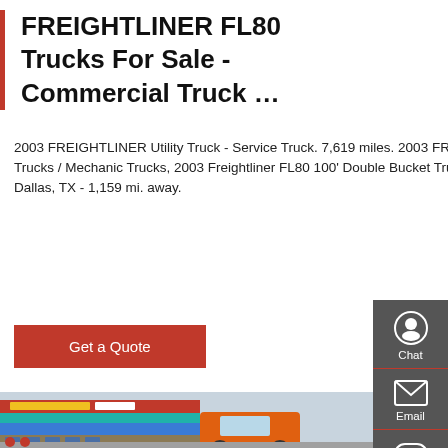FREIGHTLINER FL80 Trucks For Sale - Commercial Truck …
2003 FREIGHTLINER Utility Truck - Service Truck. 7,619 miles. 2003 FREIGHTLINER, FL80 Heavy Duty Trucks - Service Trucks / Utility Trucks / Mechanic Trucks, 2003 Freightliner FL80 100' Double Bucket Truck, Caterp D.L. Campbell Used Cars & Trucks, Inc - Website. Dallas, TX - 1,159 mi. away.
[Figure (other): Red button labeled 'Get a Quote']
[Figure (photo): Photo of a truck dealership (HOWO brand) with an orange truck cab in foreground, dealership building with Chinese signage in background]
[Figure (other): Dark sidebar with four icons: Chat (headset), Email (envelope), Contact (speech bubble), Top (arrow up)]